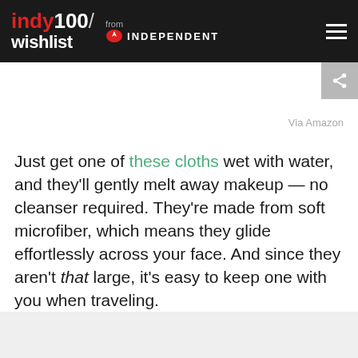indy100/ wishlist — from INDEPENDENT
Via Amazon
Just get one of these cloths wet with water, and they'll gently melt away makeup — no cleanser required. They're made from soft microfiber, which means they glide effortlessly across your face. And since they aren't that large, it's easy to keep one with you when traveling.
SEE IT ON AMAZON